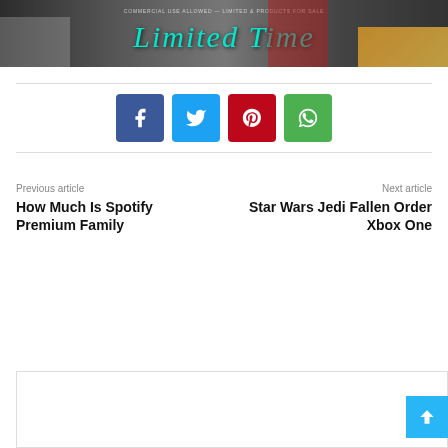[Figure (photo): Banner image with colorful font/lettering products collage and 'Limited Time' text in teal cursive, with small print about commercial use]
[Figure (infographic): Social share buttons: Facebook (blue), Twitter (light blue), Pinterest (red), WhatsApp (green)]
Previous article
How Much Is Spotify Premium Family
Next article
Star Wars Jedi Fallen Order Xbox One
[Figure (other): Comment/content box area at bottom of page with back-to-top button in blue]